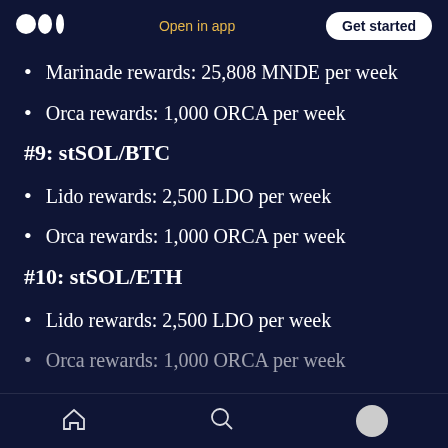Medium logo | Open in app | Get started
Marinade rewards: 25,808 MNDE per week
Orca rewards: 1,000 ORCA per week
#9: stSOL/BTC
Lido rewards: 2,500 LDO per week
Orca rewards: 1,000 ORCA per week
#10: stSOL/ETH
Lido rewards: 2,500 LDO per week
Orca rewards: 1,000 ORCA per week
Home | Search | Profile